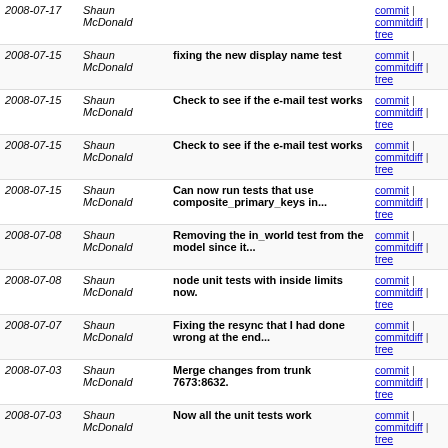| Date | Author | Message | Links |
| --- | --- | --- | --- |
| 2008-07-17 | Shaun McDonald |  | commit | commitdiff | tree |
| 2008-07-15 | Shaun McDonald | fixing the new display name test | commit | commitdiff | tree |
| 2008-07-15 | Shaun McDonald | Check to see if the e-mail test works | commit | commitdiff | tree |
| 2008-07-15 | Shaun McDonald | Check to see if the e-mail test works | commit | commitdiff | tree |
| 2008-07-15 | Shaun McDonald | Can now run tests that use composite_primary_keys in... | commit | commitdiff | tree |
| 2008-07-08 | Shaun McDonald | Removing the in_world test from the model since it... | commit | commitdiff | tree |
| 2008-07-08 | Shaun McDonald | node unit tests with inside limits now. | commit | commitdiff | tree |
| 2008-07-07 | Shaun McDonald | Fixing the resync that I had done wrong at the end... | commit | commitdiff | tree |
| 2008-07-03 | Shaun McDonald | Merge changes from trunk 7673:8632. | commit | commitdiff | tree |
| 2008-07-03 | Shaun McDonald | Now all the unit tests work | commit | commitdiff | tree |
| 2008-06-10 | Shaun McDonald | Replacing the non existant image with a pending text... | commit | commitdiff | tree |
| 2008-06-04 | Shaun McDonald | Removing id's so that the ids are generated, and it... | commit | commitdiff | tree |
| 2008-06-04 | Shaun McDonald | improved messages fixtures. Additional user fixture... | commit | commitdiff | tree |
| 2008-06-02 | Shaun McDonald | Adding some additional node fixtures to test edge cases | commit | commitdiff | tree |